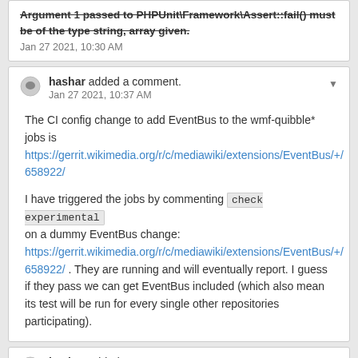Argument 1 passed to PHPUnit\Framework\Assert::fail() must be of the type string, array given. Jan 27 2021, 10:30 AM
hashar added a comment. Jan 27 2021, 10:37 AM
The CI config change to add EventBus to the wmf-quibble* jobs is https://gerrit.wikimedia.org/r/c/mediawiki/extensions/EventBus/+/658922/
I have triggered the jobs by commenting check experimental on a dummy EventBus change: https://gerrit.wikimedia.org/r/c/mediawiki/extensions/EventBus/+/658922/ . They are running and will eventually report. I guess if they pass we can get EventBus included (which also mean its test will be run for every single other repositories participating).
hashar added a comment. Jan 27 2021, 12:41 PM